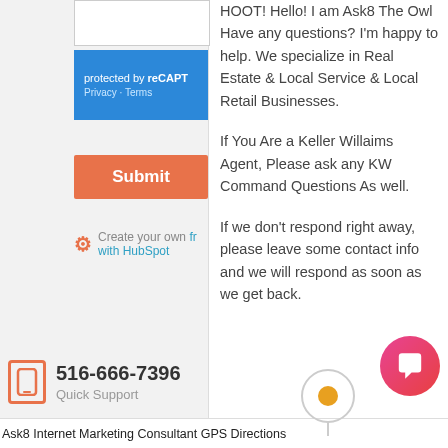[Figure (screenshot): reCAPTCHA bar with 'protected by reCAPT...' text and Privacy - Terms links on a blue background]
[Figure (screenshot): Orange Submit button]
[Figure (screenshot): HubSpot branding row with orange logo and 'Create your own fr... with HubSpot' text]
HOOT! Hello! I am Ask8 The Owl Have any questions? I'm happy to help. We specialize in Real Estate & Local Service & Local Retail Businesses.
If You Are a Keller Willaims Agent, Please ask any KW Command Questions As well.
If we don't respond right away, please leave some contact info and we will respond as soon as we get back.
Ask8 Internet Marketing Consultant GPS Directions
516-666-7396 Quick Support